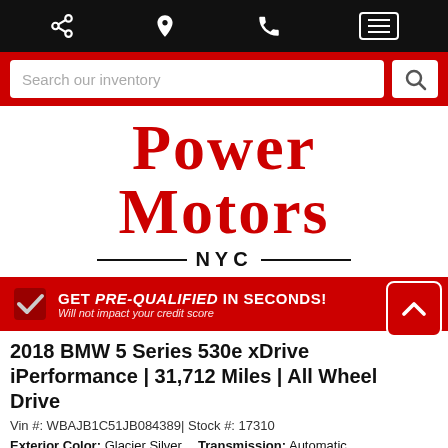[Figure (screenshot): Mobile dealership website header with black navigation bar showing share, location, phone, and menu icons]
[Figure (screenshot): Red search bar with 'Search our inventory' input field and magnifying glass button]
[Figure (logo): Power Motors NYC logo in red serif font with decorative horizontal lines flanking NYC]
[Figure (infographic): Red banner with checkmark: GET PRE-QUALIFIED IN SECONDS! Will not impact your credit score]
2018 BMW 5 Series 530e xDrive iPerformance | 31,712 Miles | All Wheel Drive
Vin #: WBAJB1C51JB084389| Stock #: 17310
Exterior Color: Glacier Silver    Transmission: Automatic